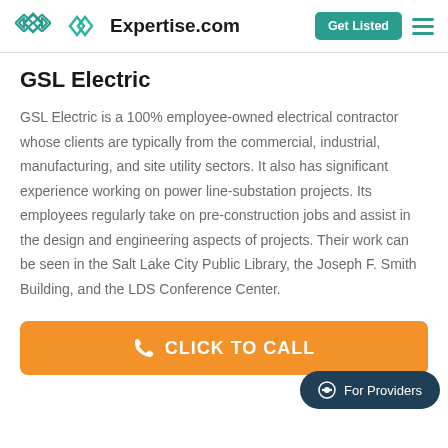Expertise.com  Get Listed
GSL Electric
GSL Electric is a 100% employee-owned electrical contractor whose clients are typically from the commercial, industrial, manufacturing, and site utility sectors. It also has significant experience working on power line-substation projects. Its employees regularly take on pre-construction jobs and assist in the design and engineering aspects of projects. Their work can be seen in the Salt Lake City Public Library, the Joseph F. Smith Building, and the LDS Conference Center.
[Figure (other): Orange 'CLICK TO CALL' button with phone icon]
[Figure (other): Dark teal 'For Providers' chat bubble button]